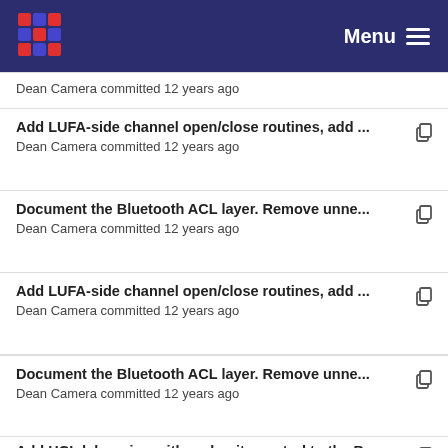Menu
Dean Camera committed 12 years ago
Add LUFA-side channel open/close routines, add ...
Dean Camera committed 12 years ago
Document the Bluetooth ACL layer. Remove unne...
Dean Camera committed 12 years ago
Add LUFA-side channel open/close routines, add ...
Dean Camera committed 12 years ago
Document the Bluetooth ACL layer. Remove unne...
Dean Camera committed 12 years ago
Add HCI debugging with verbosity control to the B...
Dean Camera committed 12 years ago